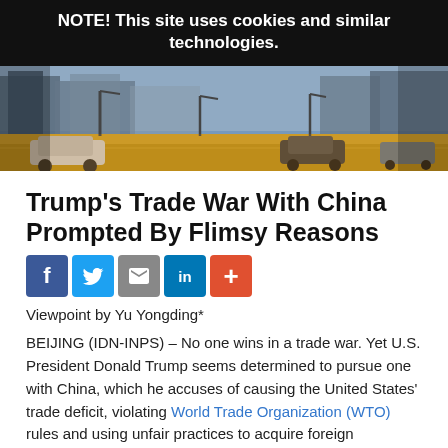NOTE! This site uses cookies and similar technologies.
[Figure (photo): Street scene photo showing a wide road with cars and buildings in background, likely a Chinese city street.]
Trump's Trade War With China Prompted By Flimsy Reasons
Viewpoint by Yu Yongding*
BEIJING (IDN-INPS) – No one wins in a trade war. Yet U.S. President Donald Trump seems determined to pursue one with China, which he accuses of causing the United States' trade deficit, violating World Trade Organization (WTO) rules and using unfair practices to acquire foreign technology.